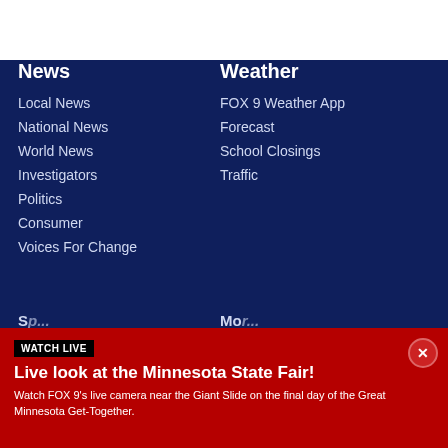[Figure (screenshot): White top area of webpage]
News
Local News
National News
World News
Investigators
Politics
Consumer
Voices For Change
Weather
FOX 9 Weather App
Forecast
School Closings
Traffic
WATCH LIVE
Live look at the Minnesota State Fair!
Watch FOX 9's live camera near the Giant Slide on the final day of the Great Minnesota Get-Together.